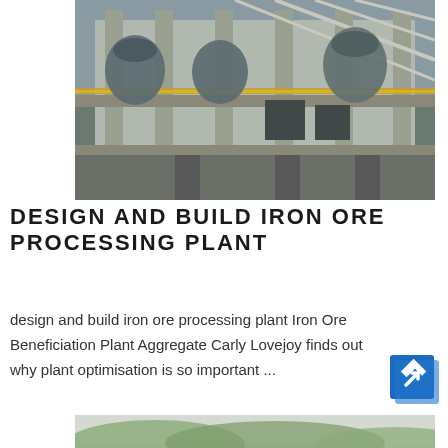[Figure (photo): Exterior view of a large industrial iron ore processing plant building with concrete structure, metal framework, industrial equipment, pipes, and yellow railings on multiple levels.]
DESIGN AND BUILD IRON ORE PROCESSING PLANT
design and build iron ore processing plant Iron Ore Beneficiation Plant Aggregate Carly Lovejoy finds out why plant optimisation is so important ...
[Figure (photo): Aerial or distant landscape photo showing green hills and trees under a hazy sky, likely showing a mining or industrial site area.]